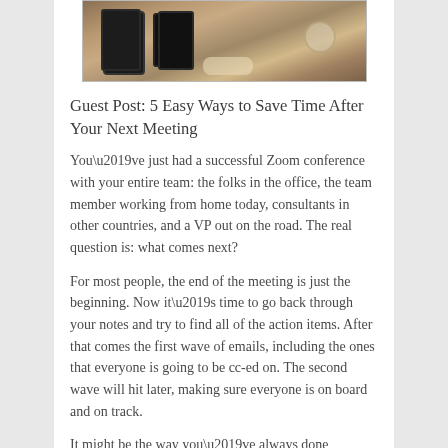[Figure (photo): Overhead photo of people at a table with phones, coffee cups, and other items on a wooden surface]
Guest Post: 5 Easy Ways to Save Time After Your Next Meeting
You’ve just had a successful Zoom conference with your entire team: the folks in the office, the team member working from home today, consultants in other countries, and a VP out on the road. The real question is: what comes next?
For most people, the end of the meeting is just the beginning. Now it’s time to go back through your notes and try to find all of the action items. After that comes the first wave of emails, including the ones that everyone is going to be cc-ed on. The second wave will hit later, making sure everyone is on board and on track.
It might be the way you’ve always done